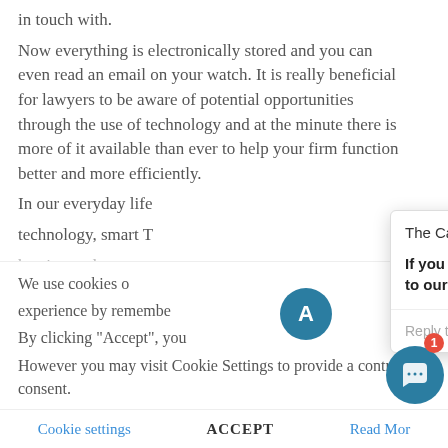in touch with. Now everything is electronically stored and you can even read an email on your watch. It is really beneficial for lawyers to be aware of potential opportunities through the use of technology and at the minute there is more of it available than ever to help your firm function better and more efficiently. In our everyday life technology, smart T heating and our ca
We use cookies on w experience by remembering s. By clicking "Accept", you However you may visit Cookie Settings to provide a controlled consent.
[Figure (screenshot): Chat popup widget from The Cashroom with message: If you have any question in regards to our services, please get in touch! Reply input field, emoji and attachment icons, close button (X), and a circular chat launcher button with notification badge showing 1.]
Cookie settings   ACCEPT   Read More